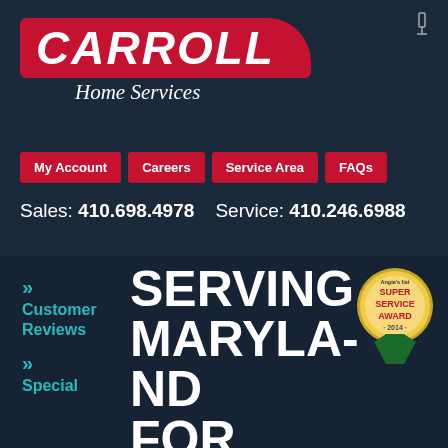[Figure (logo): Carroll Home Services logo — red rounded banner with white italic bold CARROLL text, and white italic 'Home Services' subtitle below]
My Account
Careers
Service Area
FAQs
Sales: 410.698.4978   Service: 410.246.6988
» Customer Reviews
» Special
SERVING MARYLAND FOR OVER
[Figure (illustration): Angie's List Super Service Award 2014 badge — gold circular badge with green ribbon/bow at bottom]